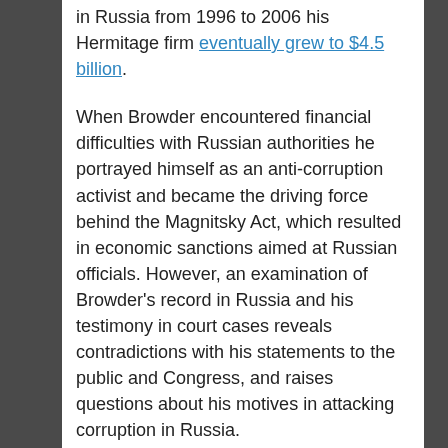in Russia from 1996 to 2006 his Hermitage firm eventually grew to $4.5 billion.
When Browder encountered financial difficulties with Russian authorities he portrayed himself as an anti-corruption activist and became the driving force behind the Magnitsky Act, which resulted in economic sanctions aimed at Russian officials. However, an examination of Browder’s record in Russia and his testimony in court cases reveals contradictions with his statements to the public and Congress, and raises questions about his motives in attacking corruption in Russia.
Although he has claimed that he was an ‘activist shareholder’ and campaigned for Russian companies to adopt Western-style governance, it has been reported that he cleverly destabilized companies he was targeting for takeover. Canadian blogger Mark Chapman has revealed that after Browder would buy a minority share in a company he would resort to lawsuits against this company through shell companies he controlled. This would